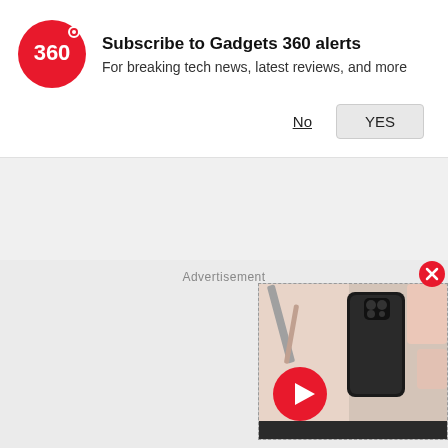[Figure (logo): Gadgets 360 logo - red circle with white '360' text]
Subscribe to Gadgets 360 alerts
For breaking tech news, latest reviews, and more
No
YES
Advertisement
[Figure (screenshot): Video widget showing a black smartphone on a pink background with a red play button, and a red close (X) button in the top right corner]